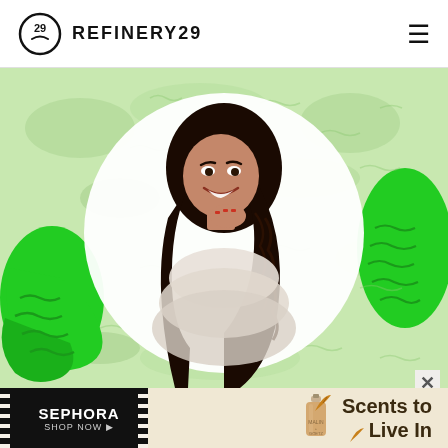REFINERY29
[Figure (photo): Woman with long curly dark hair, smiling, hand on chin, wearing a light fuzzy top, shown in a circular frame against a green abstract patterned background with bright green blob shapes]
[Figure (infographic): Sephora advertisement banner: black left panel with SEPHORA SHOP NOW text, beige right panel with perfume bottle, autumn leaves, and 'Scents to Live In' text]